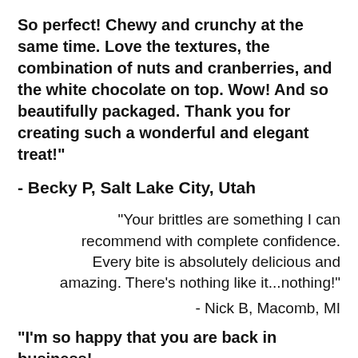So perfect!  Chewy and crunchy at the same time.  Love the textures, the combination of nuts and cranberries, and the white chocolate on top.  Wow!  And so beautifully packaged.  Thank you for creating such a wonderful and elegant treat!"
- Becky P, Salt Lake City, Utah
"Your brittles are something I can recommend with complete confidence.  Every bite is absolutely delicious and amazing.  There's nothing like it...nothing!"
- Nick B, Macomb, MI
"I'm so happy that you are back in business!